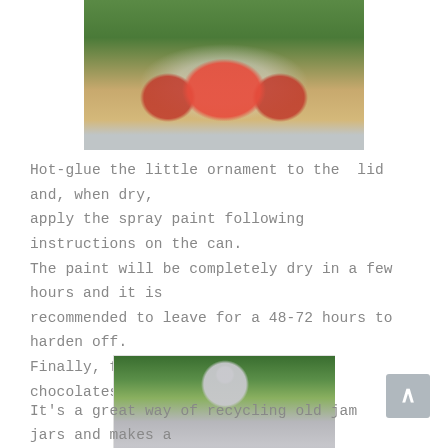[Figure (photo): Glass jar filled with red foil-wrapped chocolates and white fluffy filling, with green pine branches in the background, viewed from above. A silver/metallic lid is visible.]
Hot-glue the little ornament to the  lid and, when dry, apply the spray paint following instructions on the can. The paint will be completely dry in a few hours and it is recommended to leave for a 48-72 hours to harden off. Finally, fill with sweet treats or chocolates.
[Figure (photo): A glass jar filled with red foil-wrapped chocolates, topped with a silver/grey spray-painted lid decorated with a small silver flower ornament. Pine branches and warm bokeh lights are visible in the background.]
It's a great way of recycling old jam jars and makes a